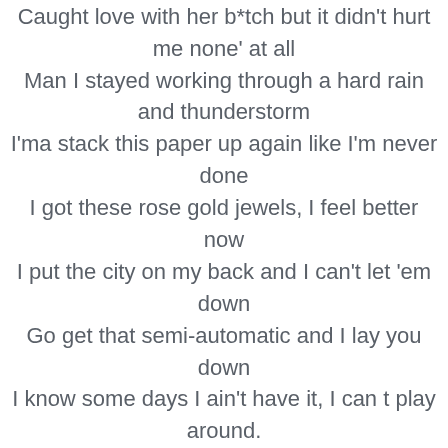Caught love with her b*tch but it didn't hurt me none' at all Man I stayed working through a hard rain and thunderstorm I'ma stack this paper up again like I'm never done I got these rose gold jewels, I feel better now I put the city on my back and I can't let 'em down Go get that semi-automatic and I lay you down I know some days I ain't have it, I can t play around.